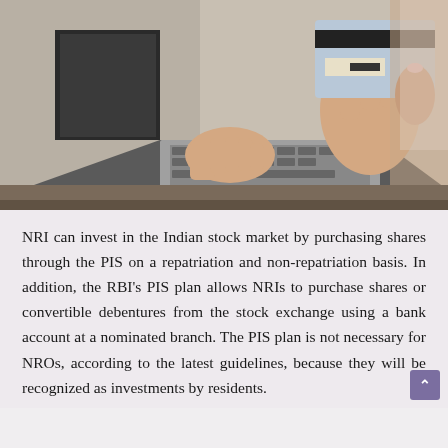[Figure (photo): A person holding a credit/debit card with one hand while typing on a laptop keyboard with the other hand, suggesting online banking or stock market investment activity.]
NRI can invest in the Indian stock market by purchasing shares through the PIS on a repatriation and non-repatriation basis. In addition, the RBI's PIS plan allows NRIs to purchase shares or convertible debentures from the stock exchange using a bank account at a nominated branch. The PIS plan is not necessary for NROs, according to the latest guidelines, because they will be recognized as investments by residents.